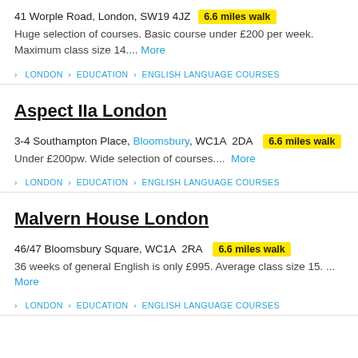41 Worple Road, London, SW19 4JZ  6.6 miles walk
Huge selection of courses. Basic course under £200 per week. Maximum class size 14.... More
› LONDON › EDUCATION › ENGLISH LANGUAGE COURSES
Aspect IIa London
3-4 Southampton Place, Bloomsbury, WC1A 2DA  6.6 miles walk
Under £200pw. Wide selection of courses....  More
› LONDON › EDUCATION › ENGLISH LANGUAGE COURSES
Malvern House London
46/47 Bloomsbury Square, WC1A 2RA  6.6 miles walk
36 weeks of general English is only £995. Average class size 15. ... More
› LONDON › EDUCATION › ENGLISH LANGUAGE COURSES